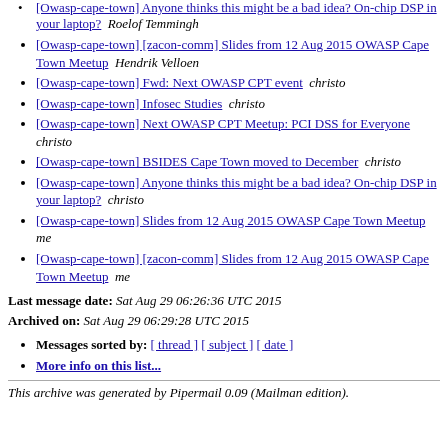[Owasp-cape-town] Anyone thinks this might be a bad idea? On-chip DSP in your laptop?  Roelof Temmingh
[Owasp-cape-town] [zacon-comm] Slides from 12 Aug 2015 OWASP Cape Town Meetup  Hendrik Velloen
[Owasp-cape-town] Fwd: Next OWASP CPT event  christo
[Owasp-cape-town] Infosec Studies  christo
[Owasp-cape-town] Next OWASP CPT Meetup: PCI DSS for Everyone  christo
[Owasp-cape-town] BSIDES Cape Town moved to December  christo
[Owasp-cape-town] Anyone thinks this might be a bad idea? On-chip DSP in your laptop?  christo
[Owasp-cape-town] Slides from 12 Aug 2015 OWASP Cape Town Meetup  me
[Owasp-cape-town] [zacon-comm] Slides from 12 Aug 2015 OWASP Cape Town Meetup  me
Last message date: Sat Aug 29 06:26:36 UTC 2015
Archived on: Sat Aug 29 06:29:28 UTC 2015
Messages sorted by: [ thread ] [ subject ] [ date ]
More info on this list...
This archive was generated by Pipermail 0.09 (Mailman edition).